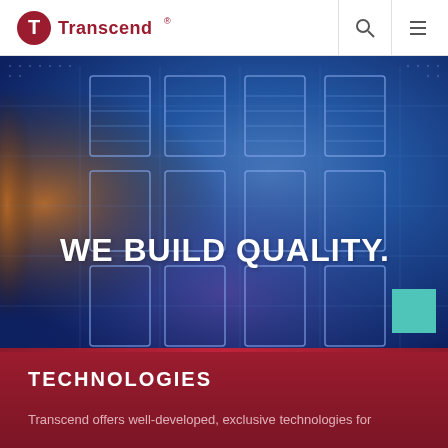Transcend® [logo] [search icon] [menu icon]
[Figure (photo): Close-up macro photograph of electronic circuit board components, showing blue-tinted capacitors and circuit elements with a dotted/halftone overlay pattern. Orange and blue color tones. Text overlay reads WE BUILD QUALITY.]
TECHNOLOGIES
Transcend offers well-developed, exclusive technologies for